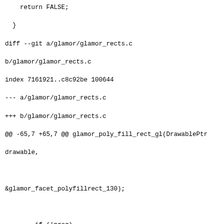return FALSE;
  }
diff --git a/glamor/glamor_rects.c
b/glamor/glamor_rects.c
index 7161921..c8c92be 100644
--- a/glamor/glamor_rects.c
+++ b/glamor/glamor_rects.c
@@ -65,7 +65,7 @@ glamor_poly_fill_rect_gl(DrawablePtr drawable,

&glamor_facet_polyfillrect_130);

        if (!prog)
-            goto bail_ctx;
+            goto bail;

        /* Set up the vertex buffers for the points */

@@ -87,7 +87,7 @@ glamor_poly_fill_rect_gl(DrawablePtr drawable,

&glamor_facet_polyfillrect_120);

        if (!prog)
-            goto bail_ctx;
+            goto bail;

        /* Set up the vertex buffers for the points */

@@ -139,14 +139,11 @@
 glamor_poly_fill_rect_gl(DrawablePtr drawable,